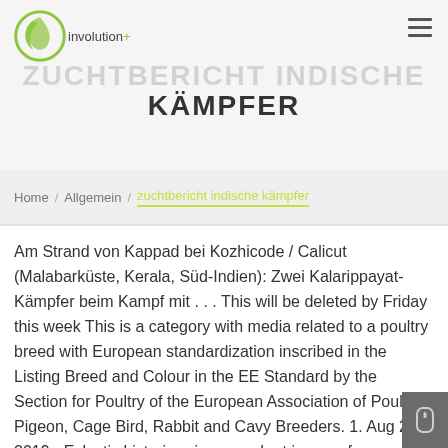involution+ ZUCHTBERICHT INDISCHE KÄMPFER
KÄMPFER
Home / Allgemein / zuchtbericht indische kämpfer
Am Strand von Kappad bei Kozhicode / Calicut (Malabarküste, Kerala, Süd-Indien): Zwei Kalarippayat-Kämpfer beim Kampf mit . . . This will be deleted by Friday this week This is a category with media related to a poultry breed with European standardization inscribed in the Listing Breed and Colour in the EE Standard by the Section for Poultry of the European Association of Poultry, Pigeon, Cage Bird, Rabbit and Cavy Breeders. 1. Aug 23, 2019 - Eclectic historic science and art images from rare books and prints Abstract. - AKG1489651 Indien, Kalarippayat-Kämpfer in Kappad / Foto Völkerkunde / Indien /